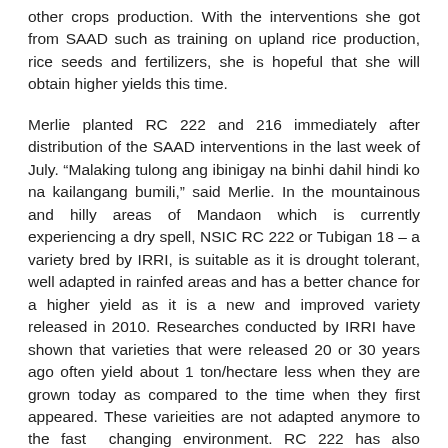other crops production. With the interventions she got from SAAD such as training on upland rice production, rice seeds and fertilizers, she is hopeful that she will obtain higher yields this time.
Merlie planted RC 222 and 216 immediately after distribution of the SAAD interventions in the last week of July. “Malaking tulong ang ibinigay na binhi dahil hindi ko na kailangang bumili,” said Merlie. In the mountainous and hilly areas of Mandaon which is currently experiencing a dry spell, NSIC RC 222 or Tubigan 18 – a variety bred by IRRI, is suitable as it is drought tolerant, well adapted in rainfed areas and has a better chance for a higher yield as it is a new and improved variety released in 2010. Researches conducted by IRRI have shown that varieties that were released 20 or 30 years ago often yield about 1 ton/hectare less when they are grown today as compared to the time when they first appeared. These varieities are not adapted anymore to the fast changing environment. RC 222 has also performed well in rainfed trials, yielding 6-8 tons in a hectare under direct seeded conditions with